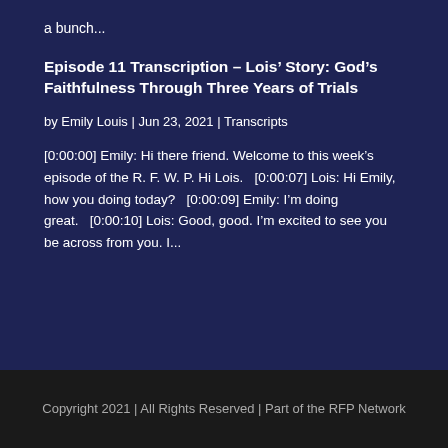a bunch...
Episode 11 Transcription – Lois' Story: God's Faithfulness Through Three Years of Trials
by Emily Louis | Jun 23, 2021 | Transcripts
[0:00:00] Emily: Hi there friend. Welcome to this week's episode of the R. F. W. P. Hi Lois.   [0:00:07] Lois: Hi Emily, how you doing today?   [0:00:09] Emily: I'm doing great.   [0:00:10] Lois: Good, good. I'm excited to see you be across from you. I...
Copyright 2021 | All Rights Reserved | Part of the RFP Network